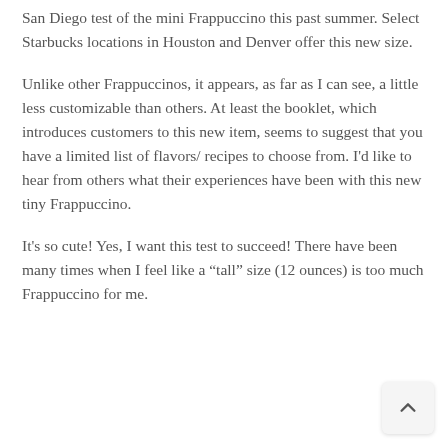San Diego test of the mini Frappuccino this past summer. Select Starbucks locations in Houston and Denver offer this new size.
Unlike other Frappuccinos, it appears, as far as I can see, a little less customizable than others. At least the booklet, which introduces customers to this new item, seems to suggest that you have a limited list of flavors/ recipes to choose from. I'd like to hear from others what their experiences have been with this new tiny Frappuccino.
It's so cute! Yes, I want this test to succeed! There have been many times when I feel like a “tall” size (12 ounces) is too much Frappuccino for me.